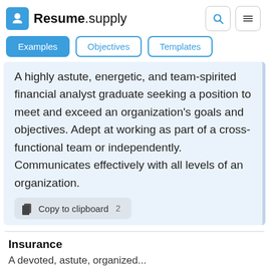Resume.supply
A highly astute, energetic, and team-spirited financial analyst graduate seeking a position to meet and exceed an organization's goals and objectives. Adept at working as part of a cross-functional team or independently. Communicates effectively with all levels of an organization.
Copy to clipboard  2
Insurance
A devoted, astute, organized...